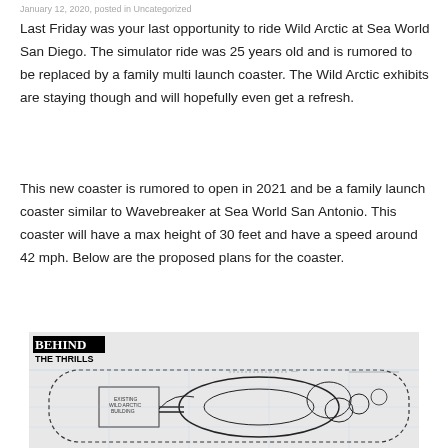January 12, 2020, posted in Uncategorized
Last Friday was your last opportunity to ride Wild Arctic at Sea World San Diego. The simulator ride was 25 years old and is rumored to be replaced by a family multi launch coaster. The Wild Arctic exhibits are staying though and will hopefully even get a refresh.
This new coaster is rumored to open in 2021 and be a family launch coaster similar to Wavebreaker at Sea World San Antonio. This coaster will have a max height of 30 feet and have a speed around 42 mph. Below are the proposed plans for the coaster.
[Figure (engineering-diagram): Architectural/engineering plan drawing of proposed coaster layout labeled 'Behind the Thrills'. Shows overhead view of a roller coaster track layout with looping sections, a building labeled 'Existing Wild Arctic Building', dotted boundary lines, and various engineering annotations.]